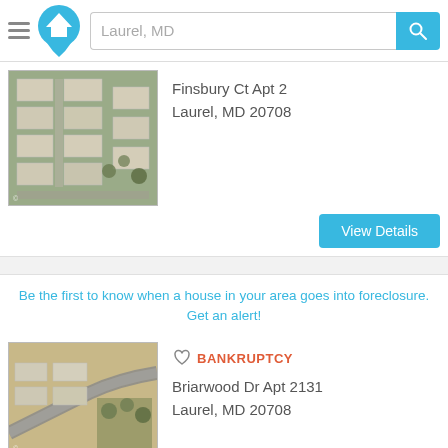[Figure (screenshot): App header with hamburger menu, house logo icon, search bar showing 'Laurel, MD', and blue search button with magnifying glass icon]
[Figure (photo): Aerial satellite view of apartment complex buildings in Laurel, MD]
Finsbury Ct Apt 2
Laurel, MD 20708
[Figure (other): View Details button (blue)]
Be the first to know when a house in your area goes into foreclosure. Get an alert!
[Figure (photo): Aerial satellite view of apartment complex at Briarwood Dr, Laurel, MD]
BANKRUPTCY
Briarwood Dr Apt 2131
Laurel, MD 20708
[Figure (other): View Details button (blue)]